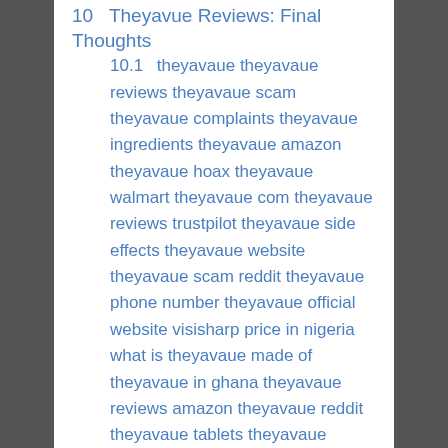10  Theyavue Reviews: Final Thoughts
10.1  theyavaue theyavaue reviews theyavaue scam theyavaue complaints theyavaue ingredients theyavaue amazon theyavaue hoax theyavaue walmart theyavaue com theyavaue reviews trustpilot theyavaue side effects theyavaue website theyavaue scam reddit theyavaue phone number theyavaue official website visisharp price in nigeria what is theyavaue made of theyavaue in ghana theyavaue reviews amazon theyavaue reddit theyavaue tablets theyavaue where to buy theyavaue eye supplement theyavaue reviews scam theyavaue pills reviews on theyavaue theyavaue in nigeria theyavaue australia theyavaue cost theyavaue canada